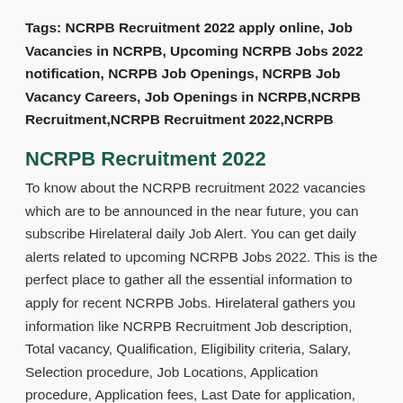Tags: NCRPB Recruitment 2022 apply online, Job Vacancies in NCRPB, Upcoming NCRPB Jobs 2022 notification, NCRPB Job Openings, NCRPB Job Vacancy Careers, Job Openings in NCRPB,NCRPB Recruitment,NCRPB Recruitment 2022,NCRPB
NCRPB Recruitment 2022
To know about the NCRPB recruitment 2022 vacancies which are to be announced in the near future, you can subscribe Hirelateral daily Job Alert. You can get daily alerts related to upcoming NCRPB Jobs 2022. This is the perfect place to gather all the essential information to apply for recent NCRPB Jobs. Hirelateral gathers you information like NCRPB Recruitment Job description, Total vacancy, Qualification, Eligibility criteria, Salary, Selection procedure, Job Locations, Application procedure, Application fees, Last Date for application, Interview